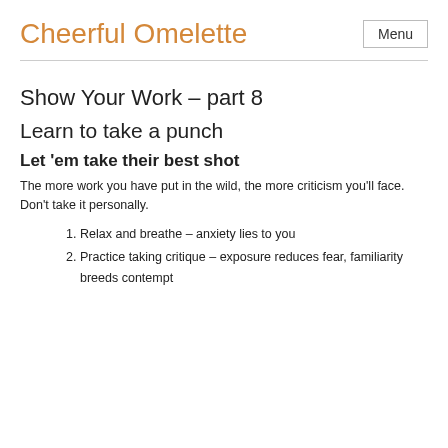Cheerful Omelette  Menu
Show Your Work – part 8
Learn to take a punch
Let 'em take their best shot
The more work you have put in the wild, the more criticism you'll face. Don't take it personally.
Relax and breathe – anxiety lies to you
Practice taking critique – exposure reduces fear, familiarity breeds contempt